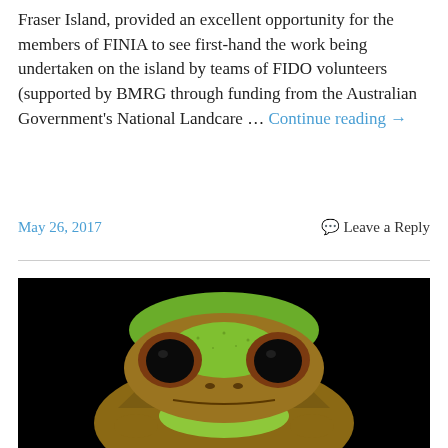Fraser Island, provided an excellent opportunity for the members of FINIA to see first-hand the work being undertaken on the island by teams of FIDO volunteers (supported by BMRG through funding from the Australian Government's National Landcare … Continue reading →
May 26, 2017
Leave a Reply
[Figure (photo): Close-up front-facing photograph of a green and brown tree frog against a black background. The frog has large dark eyes and green coloring on its head and throat.]